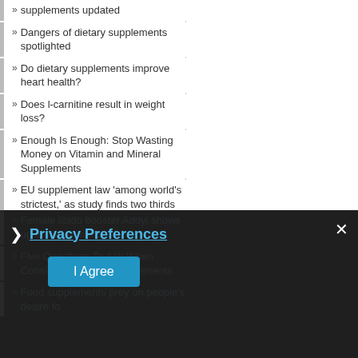supplements updated
Dangers of dietary supplements spotlighted
Do dietary supplements improve heart health?
Does l-carnitine result in weight loss?
Enough Is Enough: Stop Wasting Money on Vitamin and Mineral Supplements
EU supplement law 'among world's strictest,' as study finds two thirds adulterated
Fake testimonials: Inside the world of fake reviews
FDA - Illegally Sold Cancer Treatments
Female libido booster Addyi shows up in supplements
Five Questions To Ask When Considering Health Supplements
Food supplements prey on people's desire for
Privacy Preferences
I Agree